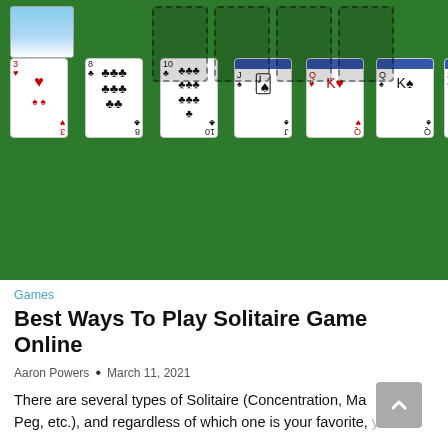[Figure (screenshot): Screenshot of a Solitaire card game being played online. Dark green felt background with playing cards arranged in columns. Top-left shows a sky/landscape card. Seven columns of cards visible including face cards (Kings, Jacks), number cards (3 of clubs, 8 of spades, 10 of clubs, 3 of diamonds), and empty foundation piles in the upper right area.]
Games
Best Ways To Play Solitaire Game Online
Aaron Powers • March 11, 2021
There are several types of Solitaire (Concentration, Ma Peg, etc.), and regardless of which one is your favorite, you